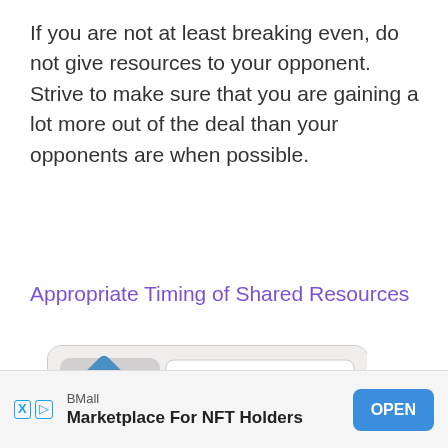If you are not at least breaking even, do not give resources to your opponent. Strive to make sure that you are gaining a lot more out of the deal than your opponents are when possible.
Appropriate Timing of Shared Resources
[Figure (photo): A game card showing a Canvasback duck (Aythya valisineria). The card has a blue diamond icon at top left, orange and moon icons, the number 4, a star icon, two pairs of dots, and '82CM' with wing icons at the bottom. The bottom of the card shows partial text 'WHEN ACTIVATED: All players draw 1... from'. The bottom strip of the card is orange/amber colored.]
BMall
Marketplace For NFT Holders
OPEN